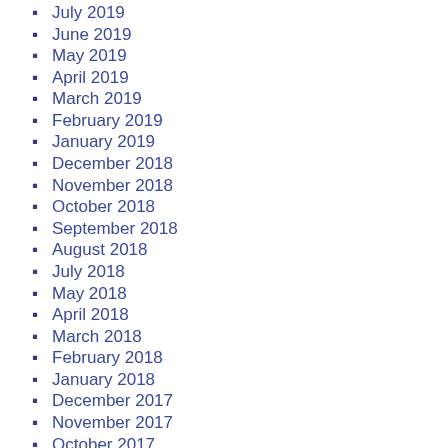July 2019
June 2019
May 2019
April 2019
March 2019
February 2019
January 2019
December 2018
November 2018
October 2018
September 2018
August 2018
July 2018
May 2018
April 2018
March 2018
February 2018
January 2018
December 2017
November 2017
October 2017
September 2017
August 2017
July 2017
June 2017
May 2017
April 2017
March 2017
January 2017